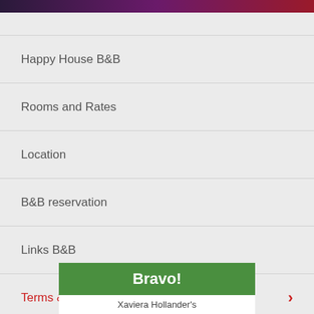Happy House B&B
Rooms and Rates
Location
B&B reservation
Links B&B
Terms & Conditions
Guest reviews - Trip advisor
[Figure (screenshot): Bravo! badge with Xaviera Hollander's text on green background]